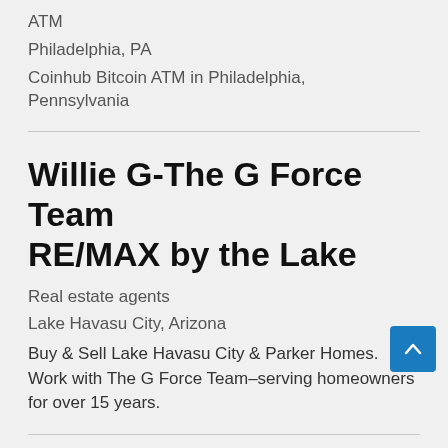ATM
Philadelphia, PA
Coinhub Bitcoin ATM in Philadelphia, Pennsylvania
Willie G-The G Force Team RE/MAX by the Lake
Real estate agents
Lake Havasu City, Arizona
Buy & Sell Lake Havasu City & Parker Homes. Work with The G Force Team–serving homeowners for over 15 years.
Home Basement Renovations